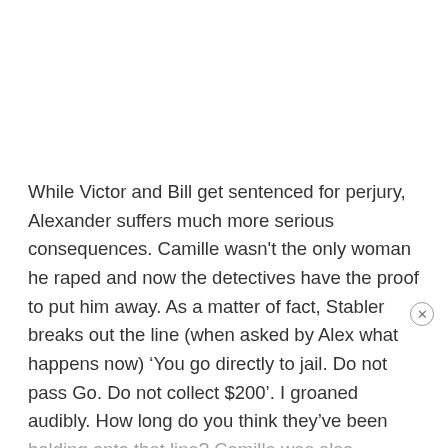While Victor and Bill get sentenced for perjury, Alexander suffers much more serious consequences. Camille wasn't the only woman he raped and now the detectives have the proof to put him away. As a matter of fact, Stabler breaks out the line (when asked by Alex what happens now) 'You go directly to jail. Do not pass Go. Do not collect $200'. I groaned audibly. How long do you think they've been holding onto that line? Camille was also reunited with her daughter.